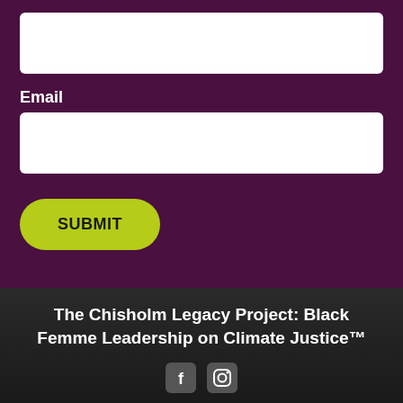Email
[Figure (screenshot): White input text field for email entry on dark purple background]
[Figure (screenshot): Yellow-green rounded SUBMIT button]
The Chisholm Legacy Project: Black Femme Leadership on Climate Justice™
[Figure (other): Social media icons (Facebook, Instagram) at bottom of page footer]